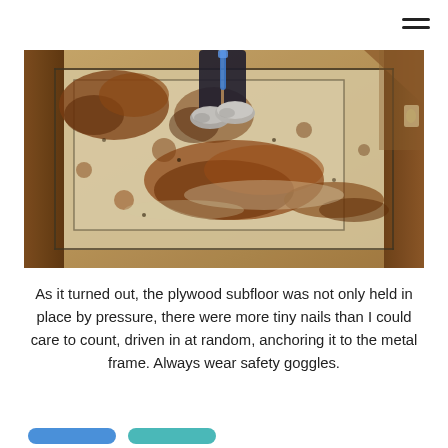[Figure (photo): A rusted metal floor/subfloor surface viewed from above at an angle, with large patches of rust and corrosion. A person's legs and sneakered feet are visible standing on the surface, which appears to be inside a vehicle or structure with a wooden frame border.]
As it turned out, the plywood subfloor was not only held in place by pressure, there were more tiny nails than I could care to count, driven in at random, anchoring it to the metal frame. Always wear safety goggles.